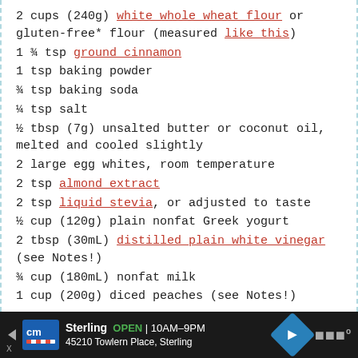2 cups (240g) white whole wheat flour or gluten-free* flour (measured like this)
1 ¾ tsp ground cinnamon
1 tsp baking powder
¾ tsp baking soda
¼ tsp salt
½ tbsp (7g) unsalted butter or coconut oil, melted and cooled slightly
2 large egg whites, room temperature
2 tsp almond extract
2 tsp liquid stevia, or adjusted to taste
½ cup (120g) plain nonfat Greek yogurt
2 tbsp (30mL) distilled plain white vinegar (see Notes!)
¾ cup (180mL) nonfat milk
1 cup (200g) diced peaches (see Notes!)
Sterling OPEN 10AM–9PM 45210 Towlern Place, Sterling